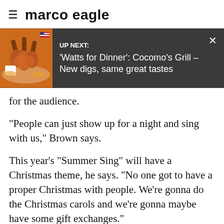marco eagle
[Figure (screenshot): UP NEXT banner showing food image (chicken wings) and text: 'Watts for Dinner': Cocomo's Grill – New digs, same great tastes]
for the audience.
“People can just show up for a night and sing with us,” Brown says.
This year’s "Summer Sing" will have a Christmas theme, he says. “No one got to have a proper Christmas with people. We’re gonna do the Christmas carols and we’re gonna maybe have some gift exchanges.”
Advertisement